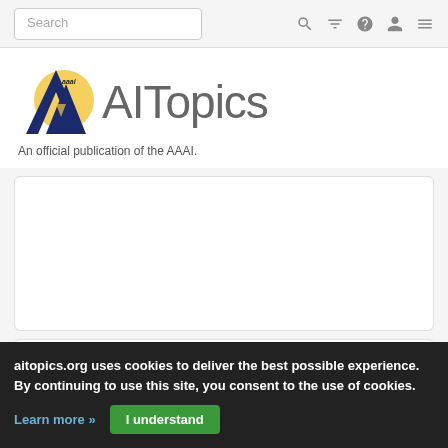[Figure (screenshot): Navigation bar with search box and icons (search, filter, help, user, menu)]
[Figure (logo): AITopics logo with AAAI emblem and text 'AITopics'. Subtitle: 'An official publication of the AAAI.']
[Figure (screenshot): White content card area (blank/loading)]
Page 1 of 96 results
aitopics.org uses cookies to deliver the best possible experience. By continuing to use this site, you consent to the use of cookies.
Learn more »
I understand